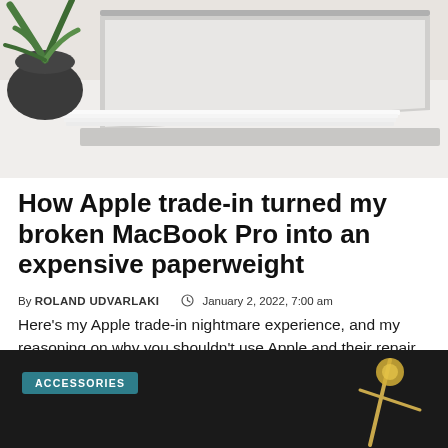[Figure (photo): A laptop MacBook (silver/grey) partially open on a white surface, with a small green plant in a dark pot visible in the upper left corner.]
How Apple trade-in turned my broken MacBook Pro into an expensive paperweight
By ROLAND UDVARLAKI   January 2, 2022, 7:00 am
Here's my Apple trade-in nightmare experience, and my reasoning on why you shouldn't use Apple and their repair partners to recoup some of your expensive Mac investments when upgrading.
[Figure (photo): Dark background image with a gold/brass object visible on the right side and an ACCESSORIES category label badge in teal/dark cyan on the left.]